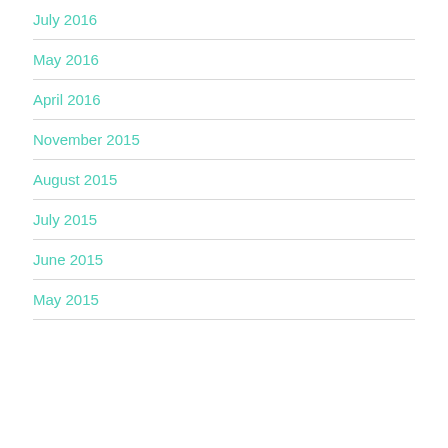July 2016
May 2016
April 2016
November 2015
August 2015
July 2015
June 2015
May 2015